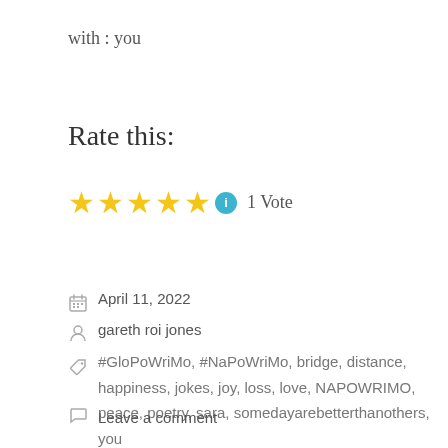with : you
Rate this:
[Figure (other): Five gold stars rating with info icon and '1 Vote' text]
April 11, 2022
gareth roi jones
#GloPoWriMo, #NaPoWriMo, bridge, distance, happiness, jokes, joy, loss, love, NAPOWRIMO, peace, poetry, sara, somedayarebetterthanothers, you
Leave a comment